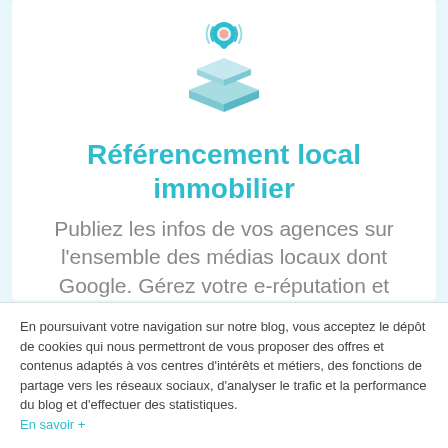[Figure (logo): Teal location pin icon with layered platform/box shapes beneath it, representing local real estate referencing service]
Référencement local immobilier
Publiez les infos de vos agences sur l'ensemble des médias locaux dont Google. Gérez votre e-réputation et
En poursuivant votre navigation sur notre blog, vous acceptez le dépôt de cookies qui nous permettront de vous proposer des offres et contenus adaptés à vos centres d'intérêts et métiers, des fonctions de partage vers les réseaux sociaux, d'analyser le trafic et la performance du blog et d'effectuer des statistiques. En savoir +
Je choisis
Accepter
Refuser